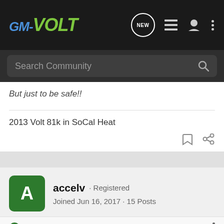GM-VOLT
Search Community
But just to be safe!!
2013 Volt 81k in SoCal Heat
accelv · Registered
Joined Jun 16, 2017 · 15 Posts
Discussion Starter · #9 · Aug 2, 2017
I'm in Florida so I don't need to heat the house, just a couple of